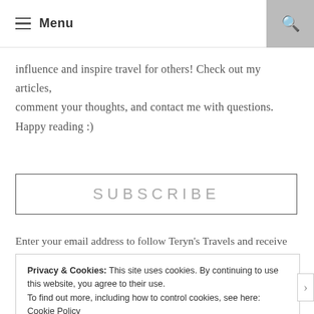Menu
influence and inspire travel for others! Check out my articles, comment your thoughts, and contact me with questions. Happy reading :)
SUBSCRIBE
Enter your email address to follow Teryn's Travels and receive
Privacy & Cookies: This site uses cookies. By continuing to use this website, you agree to their use. To find out more, including how to control cookies, see here: Cookie Policy
Close and accept